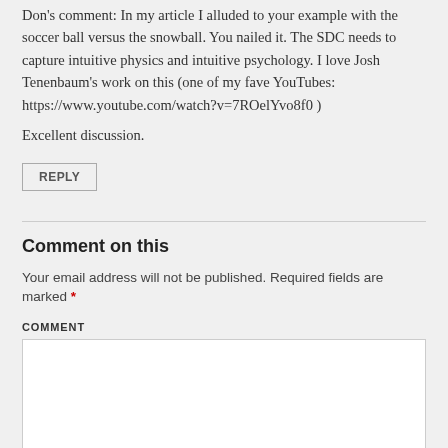Don's comment: In my article I alluded to your example with the soccer ball versus the snowball. You nailed it. The SDC needs to capture intuitive physics and intuitive psychology. I love Josh Tenenbaum's work on this (one of my fave YouTubes: https://www.youtube.com/watch?v=7ROelYvo8f0 )
Excellent discussion.
REPLY
Comment on this
Your email address will not be published. Required fields are marked *
COMMENT